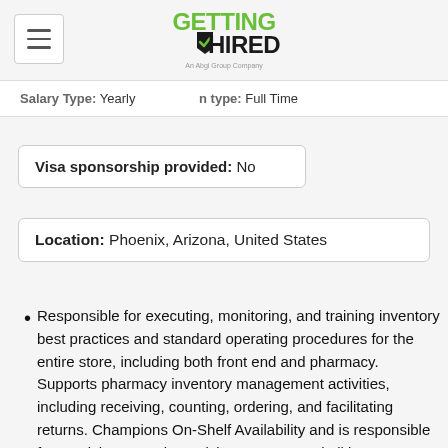[Figure (logo): Getting Hired logo with green checkmark, 'An Abgi Group Company' tagline]
Salary Type: Yearly   Position type: Full Time
Visa sponsorship provided: No
Location: Phoenix, Arizona, United States
Responsible for executing, monitoring, and training inventory best practices and standard operating procedures for the entire store, including both front end and pharmacy. Supports pharmacy inventory management activities, including receiving, counting, ordering, and facilitating returns. Champions On-Shelf Availability and is responsible for receiving, counting, pricing, returns, and all in-store inventory processes. Validates and